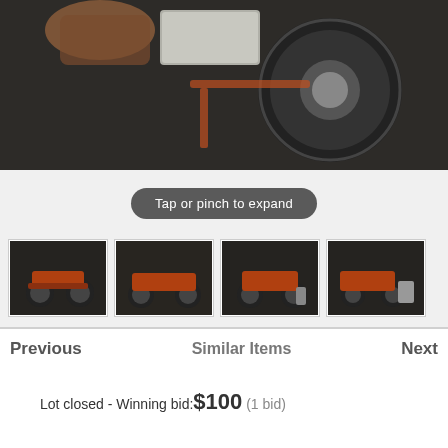[Figure (photo): Top portion of a person handling a large tire/wheel assembly on a dark concrete floor, with a cement block visible. Part of a wheeled vehicle or cart is shown.]
Tap or pinch to expand
[Figure (photo): Thumbnail 1: A rusty wheeled cart/wagon on a dark concrete floor, viewed from the front-left angle.]
[Figure (photo): Thumbnail 2: A rusty wheeled cart/wagon on a dark concrete floor, viewed from the left side.]
[Figure (photo): Thumbnail 3: A rusty wheeled cart/wagon on a dark concrete floor, viewed from the right side.]
[Figure (photo): Thumbnail 4: A rusty wheeled cart/wagon and small container on a dark concrete floor, viewed from the right-rear angle.]
Previous   Similar Items   Next
Lot closed - Winning bid:$100 (1 bid)